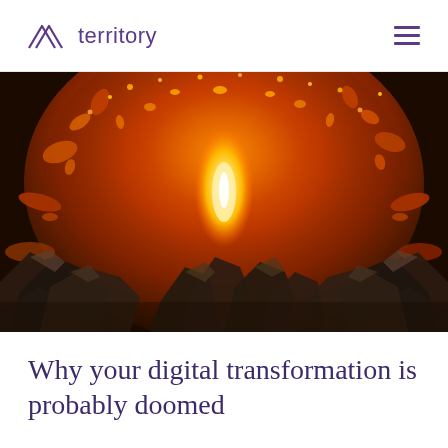territory
[Figure (illustration): Digital painting of an explosion with orange and red flames, bright glowing center, sparks and debris flying outward against a dark background with metallic/rocky elements at the bottom]
Why your digital transformation is probably doomed